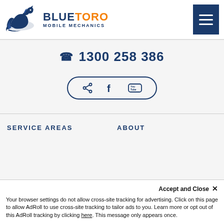[Figure (logo): Blue Toro Mobile Mechanics logo with a horse/bull head graphic and text BLUETORO MOBILE MECHANICS]
1300 258 386
[Figure (infographic): Social media pill button containing share icon, Facebook icon, and YouTube icon]
SERVICE AREAS
ABOUT
Accept and Close ×
Your browser settings do not allow cross-site tracking for advertising. Click on this page to allow AdRoll to use cross-site tracking to tailor ads to you. Learn more or opt out of this AdRoll tracking by clicking here. This message only appears once.